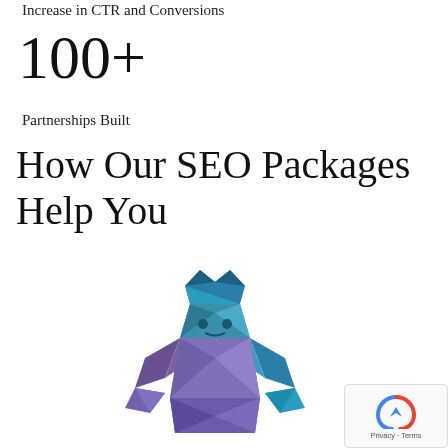Increase in CTR and Conversions
100+
Partnerships Built
How Our SEO Packages Help You
[Figure (illustration): Low-poly 3D illustration of a gorilla or strong figure with a teal/blue crown on its head, flexing arms, rendered in geometric polygons with purple and teal color gradient.]
[Figure (other): reCAPTCHA badge with Privacy and Terms text]